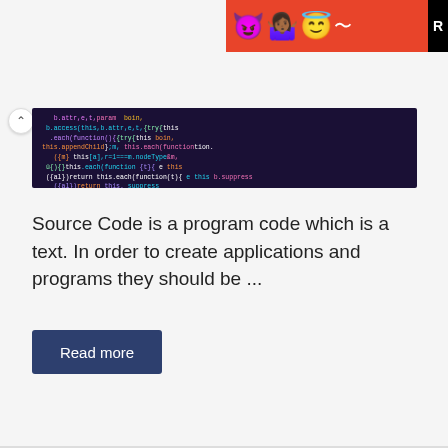[Figure (photo): Advertisement banner with emoji characters (devil, person with arms raised, angel emoji) on red background with black 'R' label on the right edge]
[Figure (screenshot): Dark-themed code editor screenshot showing JavaScript/jQuery source code with colorful syntax highlighting including pink, cyan, purple, green, and orange colored text on dark purple/black background]
Source Code is a program code which is a text. In order to create applications and programs they should be ...
Read more